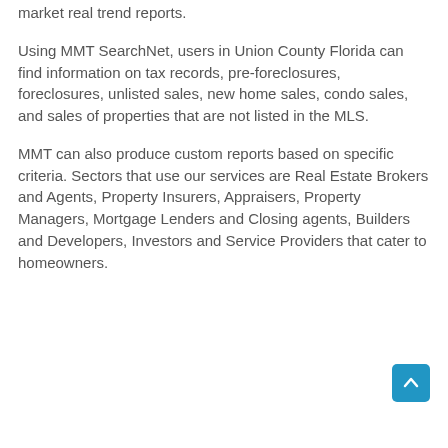market real trend reports.
Using MMT SearchNet, users in Union County Florida can find information on tax records, pre-foreclosures, foreclosures, unlisted sales, new home sales, condo sales, and sales of properties that are not listed in the MLS.
MMT can also produce custom reports based on specific criteria. Sectors that use our services are Real Estate Brokers and Agents, Property Insurers, Appraisers, Property Managers, Mortgage Lenders and Closing agents, Builders and Developers, Investors and Service Providers that cater to homeowners.